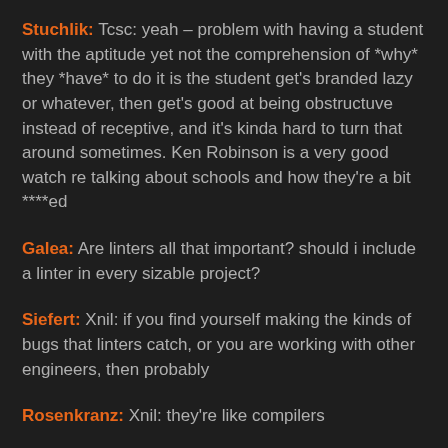Stuchlik: Tcsc: yeah – problem with having a student with the aptitude yet not the comprehension of *why* they *have* to do it is the student get's branded lazy or whatever, then get's good at being obstructuve instead of receptive, and it's kinda hard to turn that around sometimes. Ken Robinson is a very good watch re talking about schools and how they're a bit ****ed
Galea: Are linters all that important? should i include a linter in every sizable project?
Siefert: Xnil: if you find yourself making the kinds of bugs that linters catch, or you are working with other engineers, then probably
Rosenkranz: Xnil: they're like compilers
Devore: Nucleartide: the thing is, i'm already using compile-to-js languages
Bartoszek: Livescript and purescript in particular
Winchell: Well certainly you shouldn't care about linting the